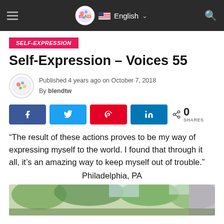BLND | English
SELF-EXPRESSION
Self-Expression – Voices 55
Published 4 years ago on October 7, 2018
By blendtw
[Figure (infographic): Social share buttons: Facebook, Twitter, Pinterest, LinkedIn. Share count: 0 SHARES]
“The result of these actions proves to be my way of expressing myself to the world. I found that through it all, it’s an amazing way to keep myself out of trouble.”
Philadelphia, PA
[Figure (photo): Partial photo of a person outdoors with trees and greenery in the background]